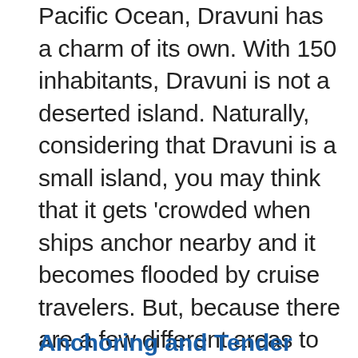Pacific Ocean, Dravuni has a charm of its own. With 150 inhabitants, Dravuni is not a deserted island. Naturally, considering that Dravuni is a small island, you may think that it gets 'crowded when ships anchor nearby and it becomes flooded by cruise travelers. But, because there are a few different areas to explore, the cruise traveler will be surprised to find that fellow cruisers will, in reality, be scattered all over the island.
Anchoring and Tender